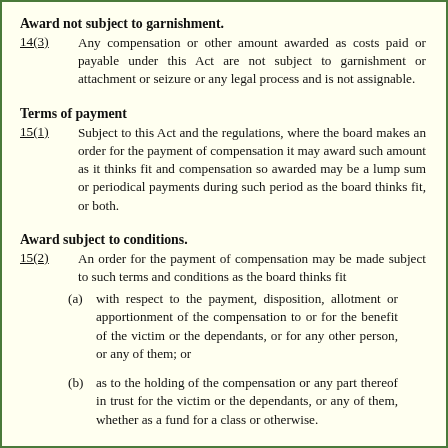Award not subject to garnishment.
14(3)   Any compensation or other amount awarded as costs paid or payable under this Act are not subject to garnishment or attachment or seizure or any legal process and is not assignable.
Terms of payment
15(1)   Subject to this Act and the regulations, where the board makes an order for the payment of compensation it may award such amount as it thinks fit and compensation so awarded may be a lump sum or periodical payments during such period as the board thinks fit, or both.
Award subject to conditions.
15(2)   An order for the payment of compensation may be made subject to such terms and conditions as the board thinks fit
(a)  with respect to the payment, disposition, allotment or apportionment of the compensation to or for the benefit of the victim or the dependants, or for any other person, or any of them; or
(b)  as to the holding of the compensation or any part thereof in trust for the victim or the dependants, or any of them, whether as a fund for a class or otherwise.
Direct payment of expenses to person entitled.
15(3)   Any compensation payable for expenses under section 12 may, in the discretion of the board, be paid directly to the person